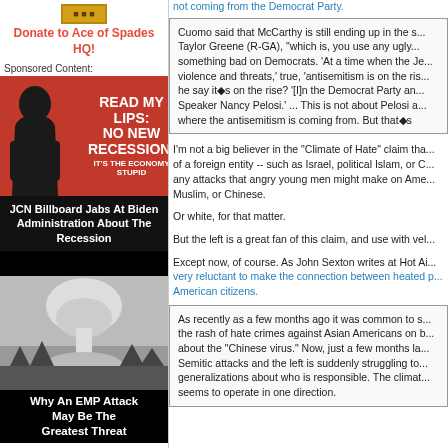[Figure (screenshot): Red donate button at top of left sidebar]
Donate to Ace of Spades HQ!
Sponsored Content:
[Figure (photo): JCN Billboard ad showing Biden silhouette on red background with text READ MY LIPS: NO NEW RECESSION! IT'S THE ECONOMY STUPID]
JCN Billboard Jabs At Biden Administration About The Recession
[Figure (photo): Nuclear explosion mushroom cloud black and white photo]
Why An EMP Attack May Be The Greatest Threat
not coming from the Democrat Party.
Cuomo said that McCarthy is still ending up in the s... Taylor Greene (R-GA), "which is, you use any ugly... something bad on Democrats. 'At a time when the Je... violence and threats,' true, 'antisemitism is on the ris... he say it◆s on the rise? '[I]n the Democrat Party an... Speaker Nancy Pelosi.' ... This is not about Pelosi a... where the antisemitism is coming from. But that◆s
I'm not a big believer in the "Climate of Hate" claim tha... of a foreign entity -- such as Israel, political Islam, or C... any attacks that angry young men might make on Ame... Muslim, or Chinese.
Or white, for that matter.
But the left is a great fan of this claim, and use with vel...
Except now, of course. As John Sexton writes at Hot Ai... very reluctant to make the connection between heated p... American citizens.
As recently as a few months ago it was common to s... the rash of hate crimes against Asian Americans on b... about the "Chinese virus." Now, just a few months la... Semitic attacks and the left is suddenly struggling to... generalizations about who is responsible. The climat... seems to operate in one direction.